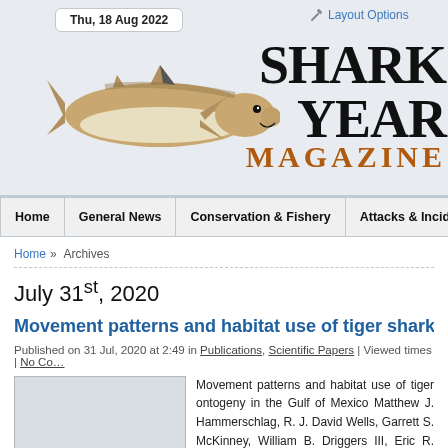Thu, 18 Aug 2022
[Figure (logo): Shark Year Magazine logo with shark illustration and bold serif text reading SHARK YEAR MAGAZINE]
Layout Options
Home | General News | Conservation & Fishery | Attacks & Incidents
Home » Archives
July 31st, 2020
Movement patterns and habitat use of tiger sharks across ontoge...
Published on 31 Jul, 2020 at 2:49 in Publications, Scientific Papers | Viewed times | No Co...
Movement patterns and habitat use of tiger ontogeny in the Gulf of Mexico Matthew J. Hammerschlag, R. J. David Wells, Garrett S. McKinney, William B. Driggers III, Eric R. Hoffma... Stunz ABSTRACT: The tiger shark (Galeocerdo cu...